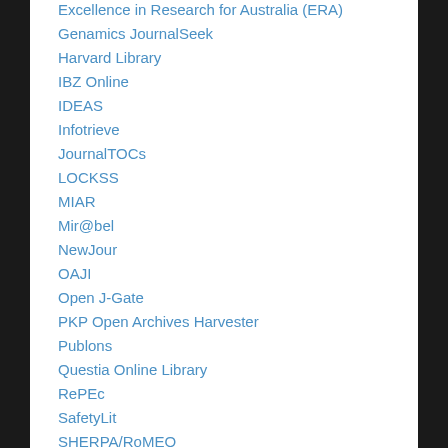Excellence in Research for Australia (ERA)
Genamics JournalSeek
Harvard Library
IBZ Online
IDEAS
Infotrieve
JournalTOCs
LOCKSS
MIAR
Mir@bel
NewJour
OAJI
Open J-Gate
PKP Open Archives Harvester
Publons
Questia Online Library
RePEc
SafetyLit
SHERPA/RoMEO